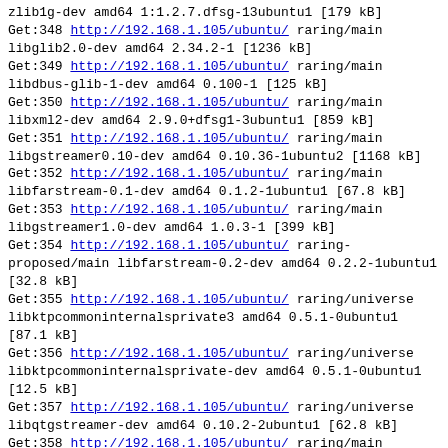zlib1g-dev amd64 1:1.2.7.dfsg-13ubuntu1 [179 kB]
Get:348 http://192.168.1.105/ubuntu/ raring/main
libglib2.0-dev amd64 2.34.2-1 [1236 kB]
Get:349 http://192.168.1.105/ubuntu/ raring/main
libdbus-glib-1-dev amd64 0.100-1 [125 kB]
Get:350 http://192.168.1.105/ubuntu/ raring/main
libxml2-dev amd64 2.9.0+dfsg1-3ubuntu1 [859 kB]
Get:351 http://192.168.1.105/ubuntu/ raring/main
libgstreamer0.10-dev amd64 0.10.36-1ubuntu2 [1168 kB]
Get:352 http://192.168.1.105/ubuntu/ raring/main
libfarstream-0.1-dev amd64 0.1.2-1ubuntu1 [67.8 kB]
Get:353 http://192.168.1.105/ubuntu/ raring/main
libgstreamer1.0-dev amd64 1.0.3-1 [399 kB]
Get:354 http://192.168.1.105/ubuntu/ raring-proposed/main libfarstream-0.2-dev amd64 0.2.2-1ubuntu1 [32.8 kB]
Get:355 http://192.168.1.105/ubuntu/ raring/universe
libktpcommoninternalsprivate3 amd64 0.5.1-0ubuntu1 [87.1 kB]
Get:356 http://192.168.1.105/ubuntu/ raring/universe
libktpcommoninternalsprivate-dev amd64 0.5.1-0ubuntu1 [12.5 kB]
Get:357 http://192.168.1.105/ubuntu/ raring/universe
libqtgstreamer-dev amd64 0.10.2-2ubuntu1 [62.8 kB]
Get:358 http://192.168.1.105/ubuntu/ raring/main
libtelepathy-glib-dev amd64 0.20.1-1ubuntu1 [1442 kB]
Get:359 http://192.168.1.105/ubuntu/ raring/universe
libtelepathy-qt4-dev amd64 0.9.3-0ubuntu2 [317 kB]
Get:360 http://192.168.1.105/ubuntu/ raring/main
python2.7-minimal amd64 2.7.3-5ubuntu5 [1681 kB]